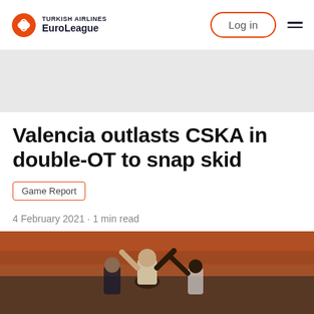TURKISH AIRLINES EuroLeague — Log in
Valencia outlasts CSKA in double-OT to snap skid
Game Report
4 February 2021 · 1 min read
[Figure (photo): Basketball players in action at a game, with orange arena seating visible in background]